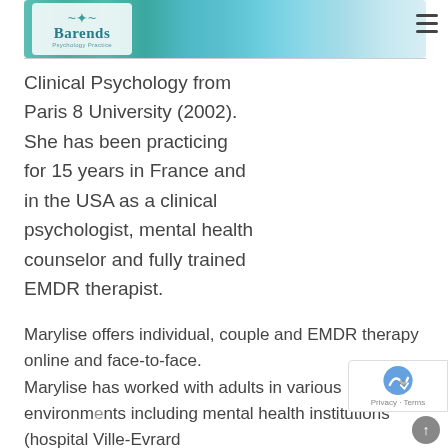Barends Psychology Practice
Clinical Psychology from Paris 8 University (2002). She has been practicing for 15 years in France and in the USA as a clinical psychologist, mental health counselor and fully trained EMDR therapist.
Marylise offers individual, couple and EMDR therapy online and face-to-face.
Marylise has worked with adults in various environments including mental health institutions (hospital Ville-Evrard